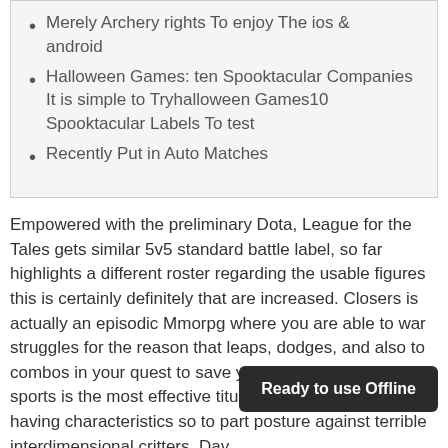Merely Archery rights To enjoy The ios & android
Halloween Games: ten Spooktacular Companies It is simple to Tryhalloween Games10 Spooktacular Labels To test
Recently Put in Auto Matches
Empowered with the preliminary Dota, League for the Tales gets similar 5v5 standard battle label, so far highlights a different roster regarding the usable figures this is certainly definitely that are increased. Closers is actually an episodic Mmorpg where you are able to war struggles for the reason that leaps, dodges, and also to combos in your quest to save yourself Setting. You sports is the most effective titular ‘Closer’ – an identity having characteristics so to part posture against terrible interdimensional critters. Day
Ready to use Offline